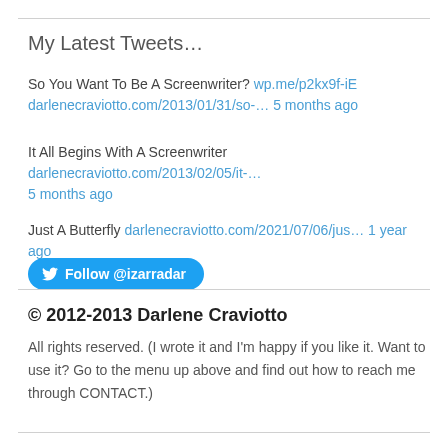My Latest Tweets…
So You Want To Be A Screenwriter? wp.me/p2kx9f-iE darlenecraviotto.com/2013/01/31/so-… 5 months ago
It All Begins With A Screenwriter darlenecraviotto.com/2013/02/05/it-… 5 months ago
Just A Butterfly darlenecraviotto.com/2021/07/06/jus… 1 year ago
[Figure (other): Follow @izarradar Twitter button]
© 2012-2013 Darlene Craviotto
All rights reserved. (I wrote it and I'm happy if you like it. Want to use it? Go to the menu up above and find out how to reach me through CONTACT.)